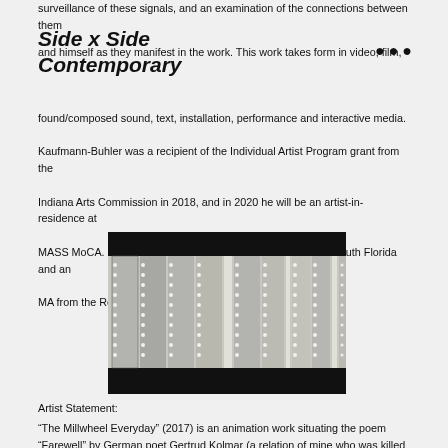surveillance of these signals, and an examination of the connections between them and himself as they manifest in the work. This work takes form in video, film, found/composed sound, text, installation, performance and interactive media.
Side x Side
Contemporary
Kaufmann-Buhler was a recipient of the Individual Artist Program grant from the Indiana Arts Commission in 2018, and in 2020 he will be an artist-in-residence at MASS MoCA. He has a BA in Fine Arts from the University of South Florida and an MA from the Royal College of Art.
[Figure (photo): Black and white film strip image showing multiple vertical strips of film with frame numbers visible, displayed against a dark background at top and bottom.]
Artist Statement:
"The Millwheel Everyday" (2017) is an animation work situating the poem "Farewell" by German poet Gertrud Kolmar (a relation of mine who was killed at the Auschwitz concentration camp in 1943) in relationship with the words of my